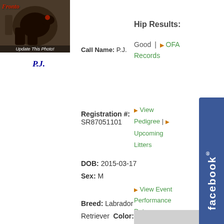[Figure (photo): Dog photo of P.J., a black Labrador Retriever, with 'Update This Photo!' overlay text]
P.J.
Call Name: P.J.
Hip Results:
Good | OFA Records
Registration #:
SR87051101
▶ View Pedigree | ▶ Upcoming Litters
DOB: 2015-03-17
Sex: M
▶ View Event Performance Data
Breed: Labrador Retriever  Color: BLACK
▶ AKC Points/Award (Free AKC Login Required)